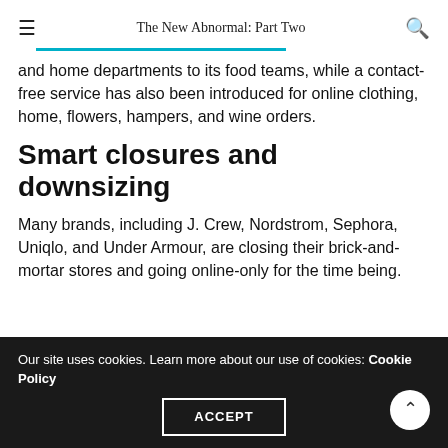The New Abnormal: Part Two
and home departments to its food teams, while a contact-free service has also been introduced for online clothing, home, flowers, hampers, and wine orders.
Smart closures and downsizing
Many brands, including J. Crew, Nordstrom, Sephora, Uniqlo, and Under Armour, are closing their brick-and-mortar stores and going online-only for the time being.
Our site uses cookies. Learn more about our use of cookies: Cookie Policy